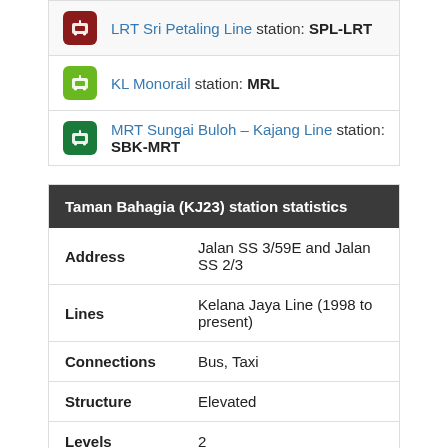LRT Sri Petaling Line station: SPL-LRT
KL Monorail station: MRL
MRT Sungai Buloh – Kajang Line station: SBK-MRT
| Taman Bahagia (KJ23) station statistics |  |
| --- | --- |
| Address | Jalan SS 3/59E and Jalan SS 2/3 |
| Lines | Kelana Jaya Line (1998 to present) |
| Connections | Bus, Taxi |
| Structure | Elevated |
| Levels | 2 |
| Platforms | Side platform |
| Tracks | 2 |
| Parking | Available |